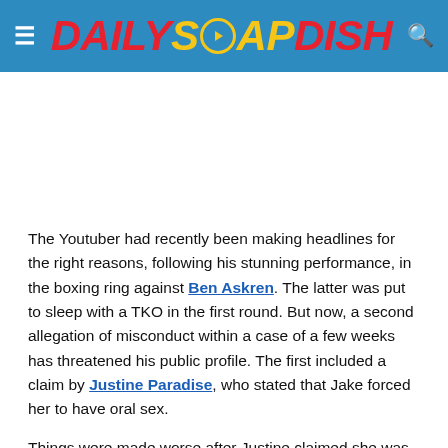DAILY SOAP DISH
[Figure (other): Advertisement/blank white area]
The Youtuber had recently been making headlines for the right reasons, following his stunning performance, in the boxing ring against Ben Askren. The latter was put to sleep with a TKO in the first round. But now, a second allegation of misconduct within a case of a few weeks has threatened his public profile. The first included a claim by Justine Paradise, who stated that Jake forced her to have oral sex.
Things were made worse after Justine claimed she was made to